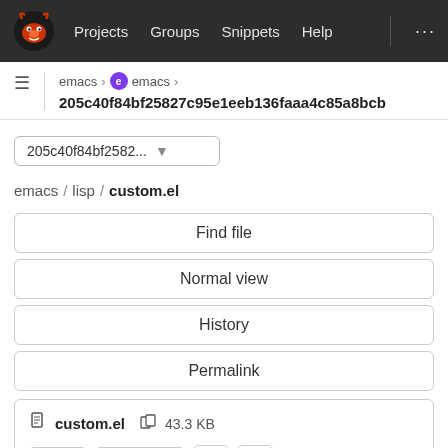[Figure (screenshot): GitLab top navigation bar with logo (GNU mascot), Projects, Groups, Snippets, Help links, and ellipsis menu]
emacs › emacs › 205c40f84bf25827c95e1eeb136faaa4c85a8bcb
205c40f84bf2582... (branch selector dropdown)
emacs / lisp / custom.el
Find file
Normal view
History
Permalink
custom.el  43.3 KB
Edit  Web IDE